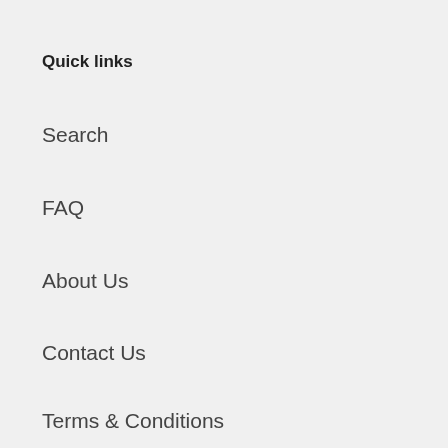Quick links
Search
FAQ
About Us
Contact Us
Terms & Conditions
Privacy Policy